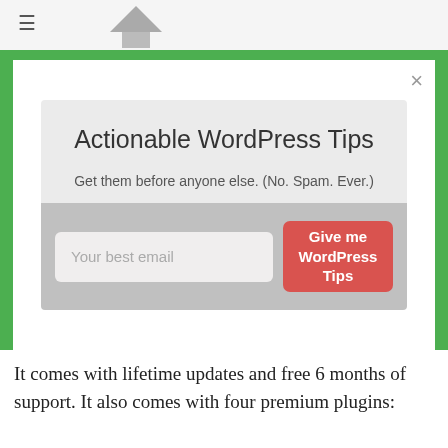≡
[Figure (screenshot): Email opt-in modal popup with green border. Title: 'Actionable WordPress Tips', subtitle: 'Get them before anyone else. (No. Spam. Ever.)' with an email input field and a red 'Give me WordPress Tips' button.]
Actionable WordPress Tips
Get them before anyone else. (No. Spam. Ever.)
Give me WordPress Tips
It comes with lifetime updates and free 6 months of support. It also comes with four premium plugins: